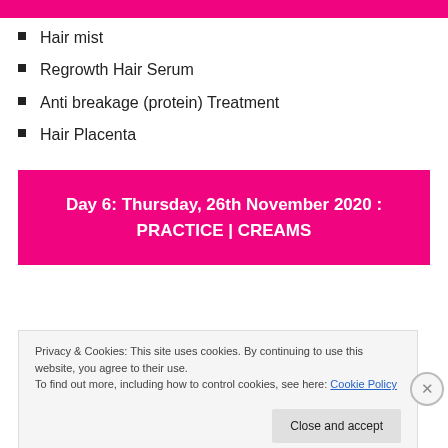Hair mist
Regrowth Hair Serum
Anti breakage (protein) Treatment
Hair Placenta
Day 6: Thursday, 26th November 2020 : PRACTICE | CREAMS
Kiddies hair softening butter
Privacy & Cookies: This site uses cookies. By continuing to use this website, you agree to their use.
To find out more, including how to control cookies, see here: Cookie Policy
Close and accept